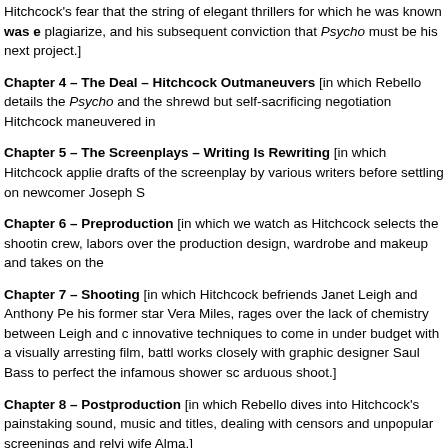Hitchcock's fear that the string of elegant thrillers for which he was known was e plagiarize, and his subsequent conviction that Psycho must be his next project.]
Chapter 4 – The Deal – Hitchcock Outmaneuvers [in which Rebello details the Psycho and the shrewd but self-sacrificing negotiation Hitchcock maneuvered in
Chapter 5 – The Screenplays – Writing Is Rewriting [in which Hitchcock applie drafts of the screenplay by various writers before settling on newcomer Joseph S
Chapter 6 – Preproduction [in which we watch as Hitchcock selects the shootin crew, labors over the production design, wardrobe and makeup and takes on the
Chapter 7 – Shooting [in which Hitchcock befriends Janet Leigh and Anthony Pe his former star Vera Miles, rages over the lack of chemistry between Leigh and c innovative techniques to come in under budget with a visually arresting film, battl works closely with graphic designer Saul Bass to perfect the infamous shower sc arduous shoot.]
Chapter 8 – Postproduction [in which Rebello dives into Hitchcock's painstaking sound, music and titles, dealing with censors and unpopular screenings and relyi wife Alma.]
Chapter 9 – Publicity – The Care And Handling of Psycho [in which we marve grassroots approach to publicizing his hard-won film through creative gimmicks a
Chapter 10 – The Release [in which the public and even critics fawn over the re still shunned at the Academy Awards.]